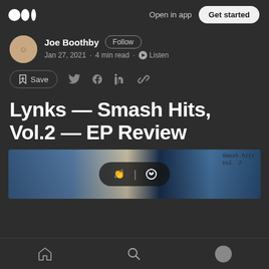Open in app | Get started
Joe Boothby · Follow · Jan 27, 2021 · 4 min read · Listen
Save
Lynks — Smash Hits, Vol.2 — EP Review
[Figure (photo): Article cover image showing Lynks Smash Hits Vol.2 EP artwork with blurred background of blue and white colors, with a dark overlay pill shape containing clapping and chat icons, and handwritten text 'Smash hits Vol. 2' in top right]
Home · Search · Profile